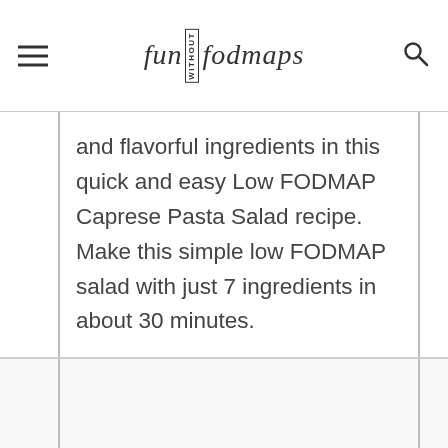fun without fodmaps
and flavorful ingredients in this quick and easy Low FODMAP Caprese Pasta Salad recipe. Make this simple low FODMAP salad with just 7 ingredients in about 30 minutes.
[Figure (other): Empty lower content area / image placeholder below text block]